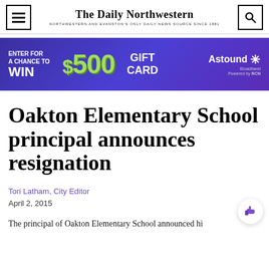The Daily Northwestern — NORTHWESTERN AND EVANSTON'S ONLY DAILY NEWS SOURCE SINCE 1881
[Figure (infographic): Advertisement banner: Enter for a chance to WIN $500 GIFT CARD, Astound Broadband powered by RCN]
Oakton Elementary School principal announces resignation
Tori Latham, City Editor
April 2, 2015
The principal of Oakton Elementary School announced hi…